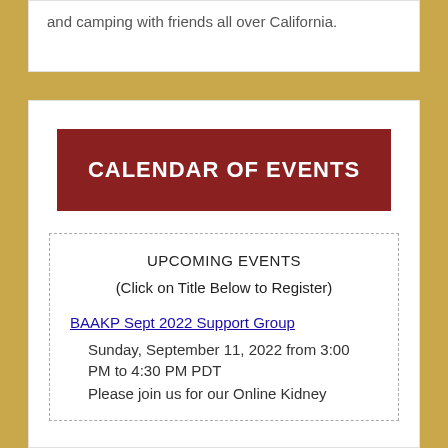and camping with friends all over California.
CALENDAR OF EVENTS
UPCOMING EVENTS
(Click on Title Below to Register)
BAAKP Sept 2022 Support Group
Sunday, September 11, 2022 from 3:00
PM to 4:30 PM PDT
Please join us for our Online Kidney